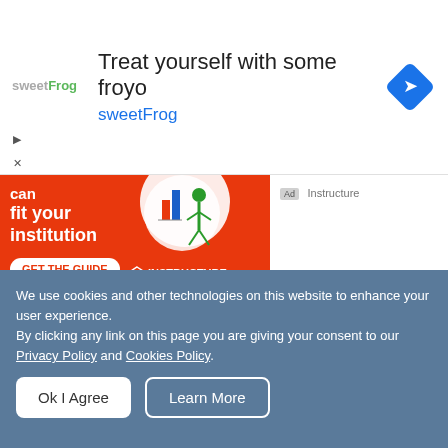[Figure (screenshot): SweetFrog advertisement banner: 'Treat yourself with some froyo' with SweetFrog logo and navigation diamond icon]
[Figure (screenshot): Instructure ad: orange background with 'can fit your institution' text, GET THE GUIDE button, and Instructure logo]
[Figure (photo): Photo of a man in a suit looking at a tablet with bokeh light background — Lexis+ advertisement]
Anticipate. Research. Respond.
Ad Lexis+®
We use cookies and other technologies on this website to enhance your user experience.
By clicking any link on this page you are giving your consent to our Privacy Policy and Cookies Policy.
Ok I Agree
Learn More